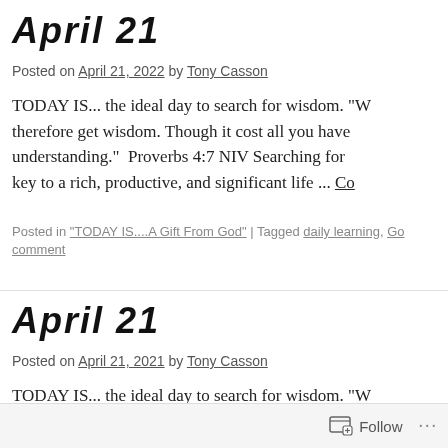April 21
Posted on April 21, 2022 by Tony Casson
TODAY IS... the ideal day to search for wisdom. "W therefore get wisdom. Though it cost all you have understanding."  Proverbs 4:7 NIV Searching for key to a rich, productive, and significant life ... Co
Posted in "TODAY IS....A Gift From God" | Tagged daily learning, Go comment
April 21
Posted on April 21, 2021 by Tony Casson
TODAY IS... the ideal day to search for wisdom. "W
Follow ...